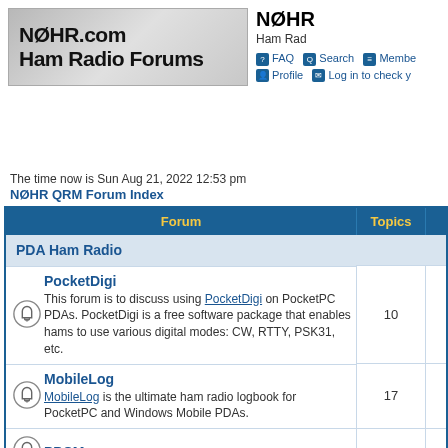[Figure (logo): NØHR.com Ham Radio Forums logo banner with gray gradient background]
NØHR Ham Radio (site title and navigation: FAQ, Search, Members, Profile, Log in to check your messages)
The time now is Sun Aug 21, 2022 12:53 pm
NØHR QRM Forum Index
| Forum | Topics |  |
| --- | --- | --- |
| PDA Ham Radio |  |  |
| [icon] PocketDigi — This forum is to discuss using PocketDigi on PocketPC PDAs. PocketDigi is a free software package that enables hams to use various digital modes: CW, RTTY, PSK31, etc. | 10 |  |
| [icon] MobileLog — MobileLog is the ultimate ham radio logbook for PocketPC and Windows Mobile PDAs. | 17 |  |
| [icon] PPCMorse |  |  |